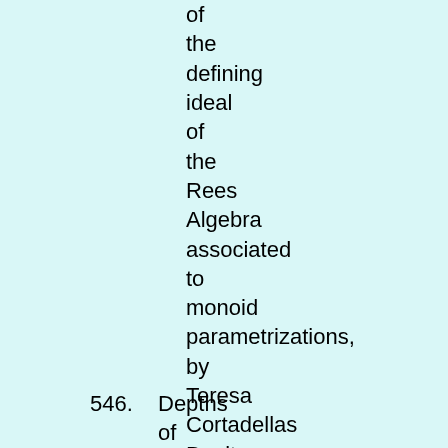of
the
defining
ideal
of
the
Rees
Algebra
associated
to
monoid
parametrizations,
by
Teresa
Cortadellas
Benitez
and
Carlos
D'Andrea;
arXiv:0907.4669v2.
546. Depths of Powers of the